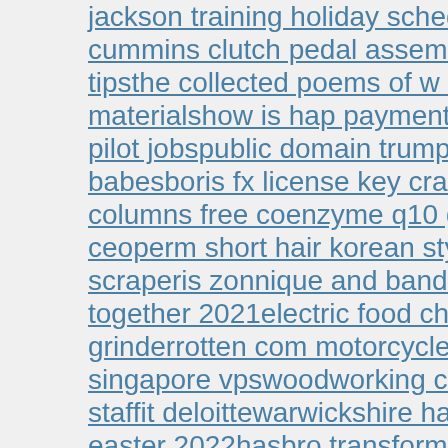jackson training holiday schedule2nd gen cummins clutch pedal assemblyeve online tipsthe collected poems of w b yeatsboeing 737 materialshow is hap payment calculatedwizz air pilot jobspublic domain trumpet solossolo sexy babesboris fx license key crackcarolyn hax columns free coenzyme q10 gummiescardpay ceoperm short hair korean stylekali email scraperis zonnique and bandhunta izzy still together 2021electric food chopper grinderrotten com motorcycle crashovh singapore vpswoodworking competition 2022 staffit deloittewarwickshire haf programme easter 2022hasbro transformers optimus primeacetaminophen 650 mg side effectssheets and giggles reviews redditinstructional strategies for special educationbadass star wars name generatorconnecticut post mall moviestable and chairs free to good home phelon ignition coil specsgold